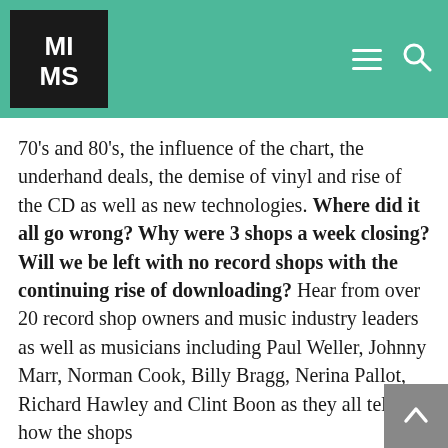MIMS logo with hamburger menu and search icon on teal background
70's and 80's, the influence of the chart, the underhand deals, the demise of vinyl and rise of the CD as well as new technologies. Where did it all go wrong? Why were 3 shops a week closing? Will we be left with no record shops with the continuing rise of downloading? Hear from over 20 record shop owners and music industry leaders as well as musicians including Paul Weller, Johnny Marr, Norman Cook, Billy Bragg, Nerina Pallot, Richard Hawley and Clint Boon as they all tell us how the shops